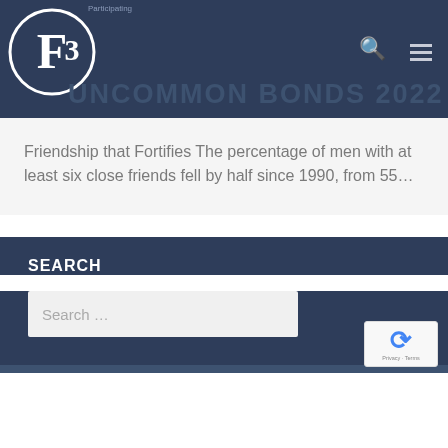F3 UNCOMMON BONDS 2022
Friendship that Fortifies The percentage of men with at least six close friends fell by half since 1990, from 55…
SEARCH
Search …